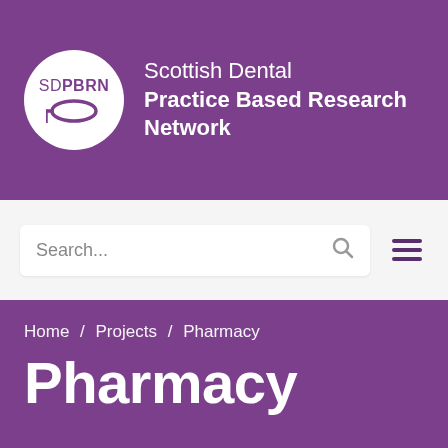[Figure (logo): SDPBRN Scottish Dental Practice Based Research Network logo — white circle with SDPBRN text and dental mirror icon on purple background, with organisation name to the right]
[Figure (screenshot): Search bar with 'Search...' placeholder text and magnifying glass icon, plus hamburger menu icon on right]
Home / Projects / Pharmacy
Pharmacy